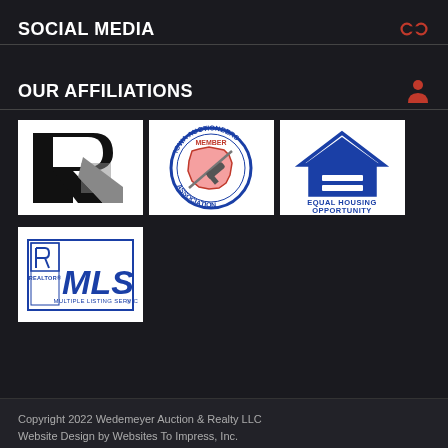SOCIAL MEDIA
OUR AFFILIATIONS
[Figure (logo): Realtor logo - large R mark black and gray]
[Figure (logo): Iowa Auctioneers Association Member circular badge logo]
[Figure (logo): Equal Housing Opportunity logo with house icon]
[Figure (logo): Realtor MLS Multiple Listing Service logo]
Copyright 2022 Wedemeyer Auction & Realty LLC
Website Design by Websites To Impress, Inc.